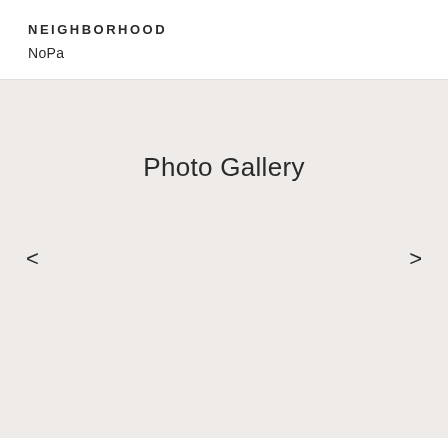NEIGHBORHOOD
NoPa
Photo Gallery